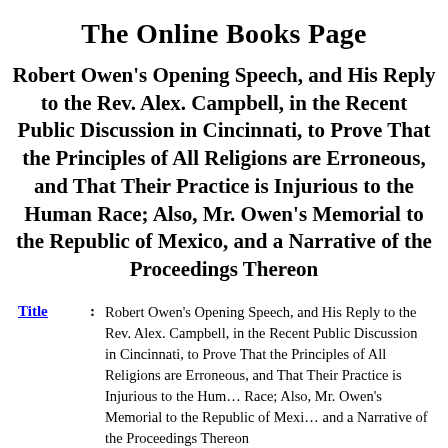The Online Books Page
Robert Owen's Opening Speech, and His Reply to the Rev. Alex. Campbell, in the Recent Public Discussion in Cincinnati, to Prove That the Principles of All Religions are Erroneous, and That Their Practice is Injurious to the Human Race; Also, Mr. Owen's Memorial to the Republic of Mexico, and a Narrative of the Proceedings Thereon
Title: Robert Owen's Opening Speech, and His Reply to the Rev. Alex. Campbell, in the Recent Public Discussion in Cincinnati, to Prove That the Principles of All Religions are Erroneous, and That Their Practice is Injurious to the Human Race; Also, Mr. Owen's Memorial to the Republic of Mexico, and a Narrative of the Proceedings Thereon